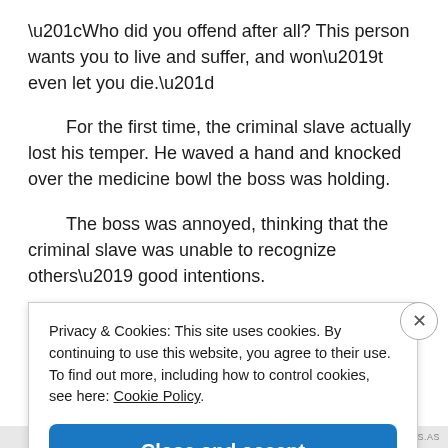“Who did you offend after all? This person wants you to live and suffer, and won’t even let you die.”
For the first time, the criminal slave actually lost his temper. He waved a hand and knocked over the medicine bowl the boss was holding.
The boss was annoyed, thinking that the criminal slave was unable to recognize others’ good intentions.
Privacy & Cookies: This site uses cookies. By continuing to use this website, you agree to their use.
To find out more, including how to control cookies, see here: Cookie Policy
Close and accept
AIRPORT-TIPS.AS